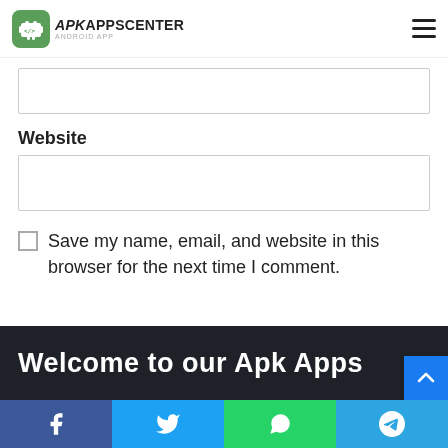[Figure (logo): APK Apps Center logo with green Android robot icon and text APKAPPSCENTER]
Website
Save my name, email, and website in this browser for the next time I comment.
Post Comment
Welcome to our Apk Apps
Facebook Twitter WhatsApp Telegram